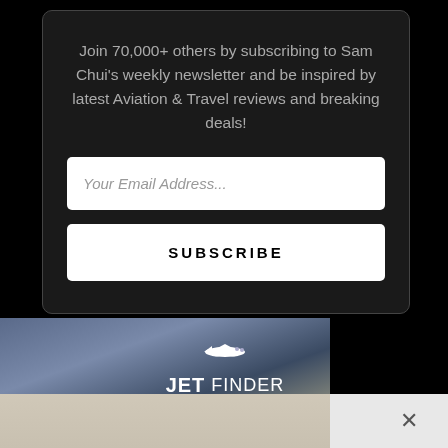Join 70,000+ others by subscribing to Sam Chui's weekly newsletter and be inspired by latest Aviation & Travel reviews and breaking deals!
Your Email Address...
SUBSCRIBE
[Figure (logo): Jet Finder logo with airplane icon over a cloudy sky background]